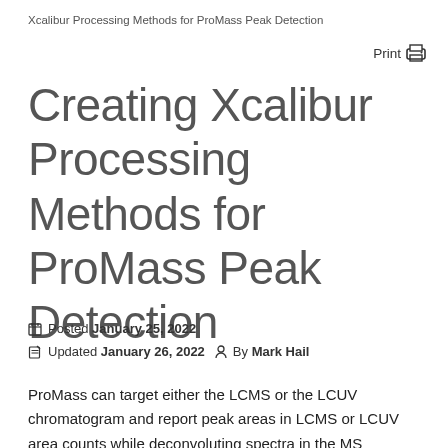Xcalibur Processing Methods for ProMass Peak Detection
Creating Xcalibur Processing Methods for ProMass Peak Detection
Posted January 25, 2022
Updated January 26, 2022  By Mark Hail
ProMass can target either the LCMS or the LCUV chromatogram and report peak areas in LCMS or LCUV area counts while deconvoluting spectra in the MS chromatogram. In order to setup MS or UV-directed